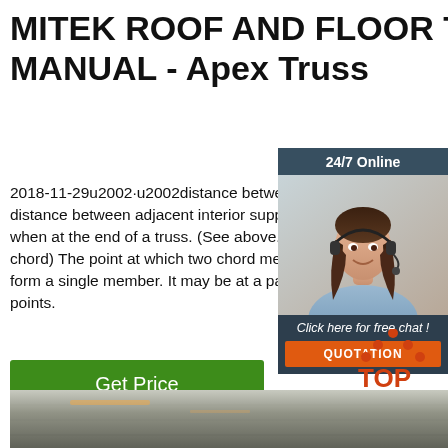MITEK ROOF AND FLOOR TRUSS MANUAL - Apex Truss
2018-11-29u2002·u2002distance between trusses. Span The overall distance between adjacent interior supports or to the outside of supports when at the end of a truss. (See above.) Splice Point(Top & Bottom chord) The point at which two chord members are joined together to form a single member. It may be at a panel point or between panel points.
[Figure (photo): Customer service representative with headset, 24/7 Online chat widget with orange QUOTATION button]
[Figure (other): Green Get Price button]
[Figure (logo): Orange/red TOP logo with house/triangle icon above the text]
[Figure (photo): Photo strip at bottom showing metal roofing or floor truss material close-up]